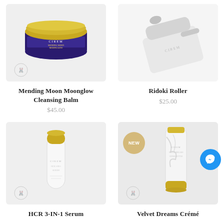[Figure (photo): Purple jar of Mending Moon Moonglow Cleansing Balm with gold lid by CIREM brand, on light gray background with vegan rabbit logo]
[Figure (photo): Ridoki Roller facial tool with CIREM branded pouch on white background]
Mending Moon Moonglow Cleansing Balm
$45.00
Ridoki Roller
$25.00
[Figure (photo): White bottle with gold cap labeled CIREM HCR 3-IN-1 Serum on light gray background with vegan rabbit logo]
[Figure (photo): White marble-pattern tube with gold base labeled CIREM Velvet Dreams Crémé on gray background, with NEW badge and vegan rabbit logo]
HCR 3-IN-1 Serum
Velvet Dreams Crémé